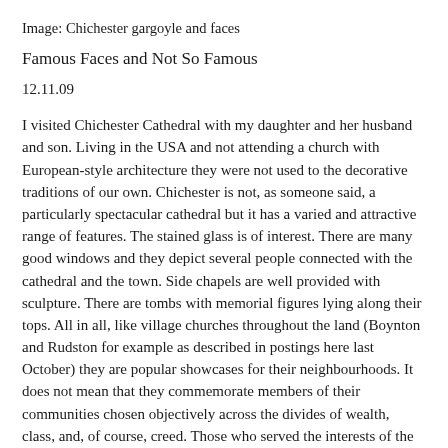Image: Chichester gargoyle and faces
Famous Faces and Not So Famous
12.11.09
I visited Chichester Cathedral with my daughter and her husband and son. Living in the USA and not attending a church with European-style architecture they were not used to the decorative traditions of our own. Chichester is not, as someone said, a particularly spectacular cathedral but it has a varied and attractive range of features. The stained glass is of interest. There are many good windows and they depict several people connected with the cathedral and the town. Side chapels are well provided with sculpture. There are tombs with memorial figures lying along their tops. All in all, like village churches throughout the land (Boynton and Rudston for example as described in postings here last October) they are popular showcases for their neighbourhoods. It does not mean that they commemorate members of their communities chosen objectively across the divides of wealth, class, and, of course, creed. Those who served the interests of the church in one way or another are shown.
Chichester has some external carving – gargoyles and faces. Placed one on each side of the main, west door, are the faces of Queen